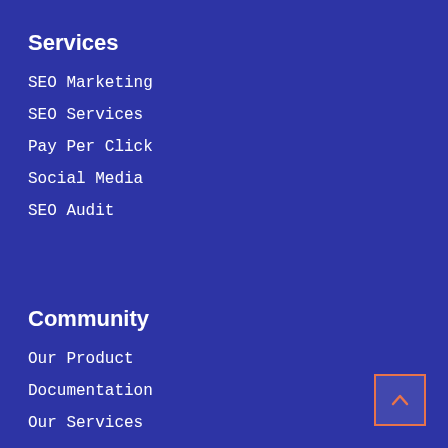Services
SEO Marketing
SEO Services
Pay Per Click
Social Media
SEO Audit
Community
Our Product
Documentation
Our Services
Company
What We Do?